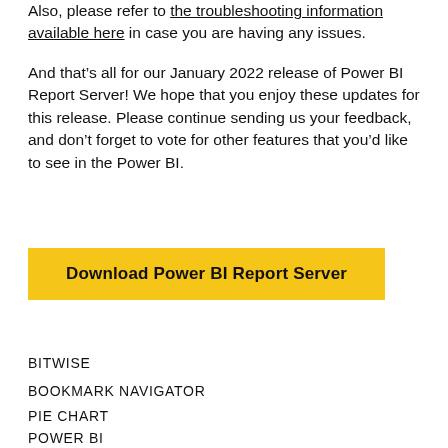Also, please refer to the troubleshooting information available here in case you are having any issues.
And that’s all for our January 2022 release of Power BI Report Server! We hope that you enjoy these updates for this release. Please continue sending us your feedback, and don’t forget to vote for other features that you’d like to see in the Power BI.
Download Power BI Report Server
BITWISE
BOOKMARK NAVIGATOR
PIE CHART
POWER BI
SWITCH